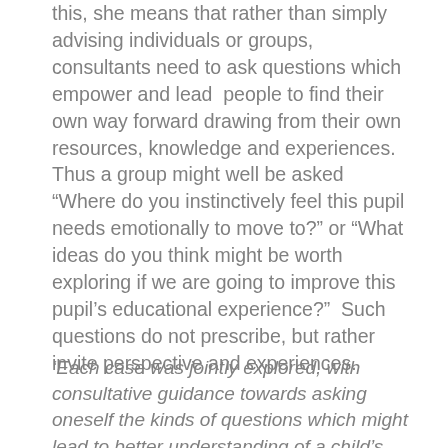this, she means that rather than simply advising individuals or groups, consultants need to ask questions which empower and lead  people to find their own way forward drawing from their own resources, knowledge and experiences.  Thus a group might well be asked “Where do you instinctively feel this pupil needs emotionally to move to?” or “What ideas do you think might be worth exploring if we are going to improve this pupil’s educational experience?”  Such questions do not prescribe, but rather invite perspective and experiences.
‘Each case was jointly explored, with consultative guidance towards asking oneself the kinds of questions which might lead to better understanding of a child’s